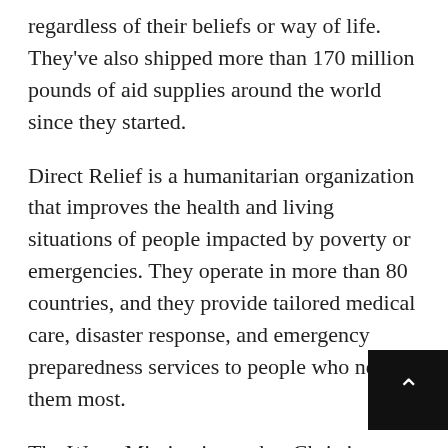regardless of their beliefs or way of life. They've also shipped more than 170 million pounds of aid supplies around the world since they started.
Direct Relief is a humanitarian organization that improves the health and living situations of people impacted by poverty or emergencies. They operate in more than 80 countries, and they provide tailored medical care, disaster response, and emergency preparedness services to people who need them most.
The Water Mission is another Christian organization that designs and builds water, sanitation, and hygiene solutions for people in disaster areas and developing countries. So far they've been able to provide access to safe water for more than five million individuals in 56